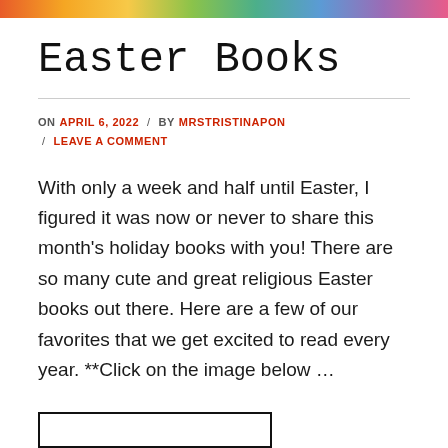[Figure (illustration): Colorful rainbow/multi-color banner strip at the top of the page]
Easter Books
ON APRIL 6, 2022 / BY MRSTRISTINAPON / LEAVE A COMMENT
With only a week and half until Easter, I figured it was now or never to share this month's holiday books with you! There are so many cute and great religious Easter books out there. Here are a few of our favorites that we get excited to read every year. **Click on the image below …
[Figure (photo): Image placeholder / partially visible image at the bottom of the page]